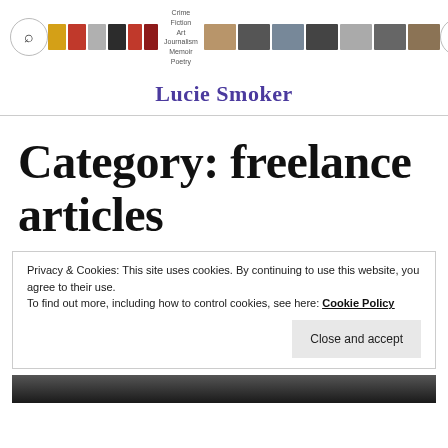Lucie Smoker – Crime Fiction, Art Journalism, Memoir, Poetry
Lucie Smoker
Category: freelance articles
Privacy & Cookies: This site uses cookies. By continuing to use this website, you agree to their use.
To find out more, including how to control cookies, see here: Cookie Policy
Close and accept